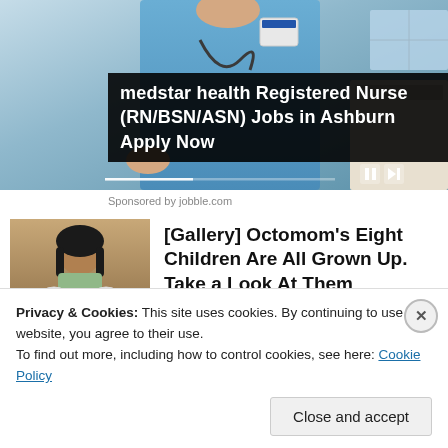[Figure (photo): Nurse in blue scrubs with stethoscope, partial view of upper body, background with patient bed and window. Video player controls visible at bottom right.]
medstar health Registered Nurse (RN/BSN/ASN) Jobs in Ashburn Apply Now
Sponsored by jobble.com
[Figure (photo): Woman with dark hair holding multiple babies/infants, appearing to be the Octomom story thumbnail.]
[Gallery] Octomom's Eight Children Are All Grown Up. Take a Look At Them
Better Health Post
Privacy & Cookies: This site uses cookies. By continuing to use this website, you agree to their use.
To find out more, including how to control cookies, see here: Cookie Policy
Close and accept